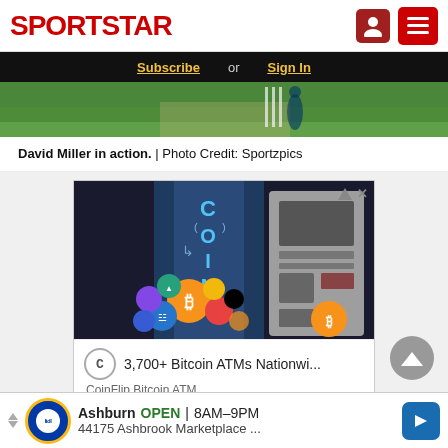SPORTSTAR
Subscribe or Sign In
[Figure (photo): Cricket match photo showing a player (David Miller) in action on green field]
David Miller in action. | Photo Credit: Sportzpics
[Figure (screenshot): Advertisement: CoinFlip Bitcoin ATM ad showing cryptocurrency coins and ATM machine with text '3,700+ Bitcoin ATMs Nationwi...' and 'CoinFlip Bitcoin ATM']
[Figure (photo): Bottom advertisement for Lidl store in Ashburn: OPEN 8AM-9PM, 44175 Ashbrook Marketplace ...]